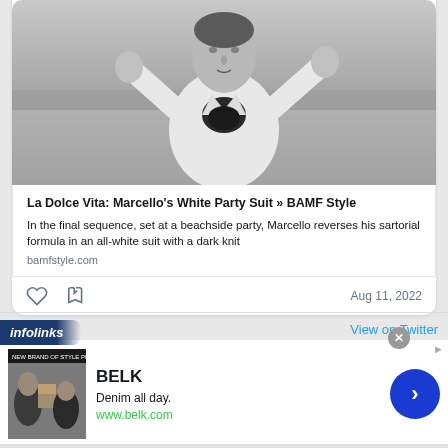[Figure (photo): Black and white photo of a man in a white suit jacket with a dark scarf, arms raised, at a beach]
La Dolce Vita: Marcello's White Party Suit » BAMF Style
In the final sequence, set at a beachside party, Marcello reverses his sartorial formula in an all-white suit with a dark knit
bamfstyle.com
Aug 11, 2022
infolinks
View on Twitter
BELK
Denim all day.
www.belk.com